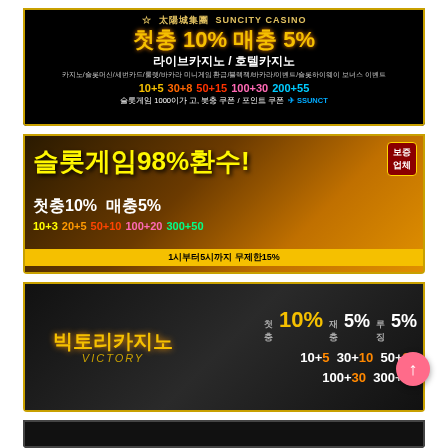[Figure (infographic): Korean casino advertisement banner 1 - SunCity Casino: 첫충 10% 매충 5%, 라이브카지노/호텔카지노, bonus tiers 10+5 30+8 50+15 100+30 200+55, SSUNCT]
[Figure (infographic): Korean casino advertisement banner 2 - 슬롯게임98%환수! 첫충10% 매충5%, bonus tiers 10+3 20+5 50+10 100+20 300+50, 1시부터5시까지 무제한15%]
[Figure (infographic): Korean casino advertisement banner 3 - 빅토리카지노 VICTORY: 첫충10% 재충5% 루징5%, bonus tiers 10+5 30+10 50+20 100+30 300+50]
[Figure (infographic): Partial 4th banner visible at bottom]